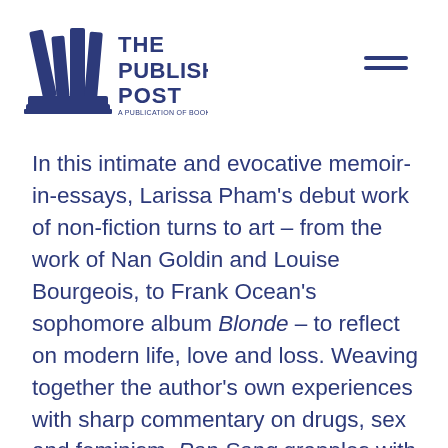[Figure (logo): The Publishing Post logo — stylized books icon with text 'THE PUBLISHING POST' in blue]
In this intimate and evocative memoir-in-essays, Larissa Pham's debut work of non-fiction turns to art – from the work of Nan Goldin and Louise Bourgeois, to Frank Ocean's sophomore album Blonde – to reflect on modern life, love and loss. Weaving together the author's own experiences with sharp commentary on drugs, sex and feminism, Pop Song grapples with the trauma of heartbreak, which is at once agonisingly personal and consolingly universal. Detailing